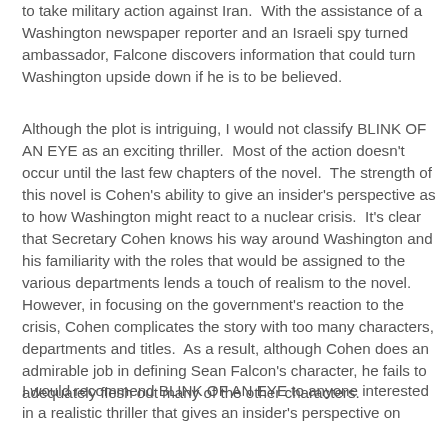to take military action against Iran.  With the assistance of a Washington newspaper reporter and an Israeli spy turned ambassador, Falcone discovers information that could turn Washington upside down if he is to be believed.
Although the plot is intriguing, I would not classify BLINK OF AN EYE as an exciting thriller.  Most of the action doesn't occur until the last few chapters of the novel.  The strength of this novel is Cohen's ability to give an insider's perspective as to how Washington might react to a nuclear crisis.  It's clear that Secretary Cohen knows his way around Washington and his familiarity with the roles that would be assigned to the various departments lends a touch of realism to the novel.  However, in focusing on the government's reaction to the crisis, Cohen complicates the story with too many characters, departments and titles.  As a result, although Cohen does an admirable job in defining Sean Falcon's character, he fails to adequately flesh out many of the other characters.
I would recommend BLINK OF AN EYE to anyone interested in a realistic thriller that gives an insider's perspective on